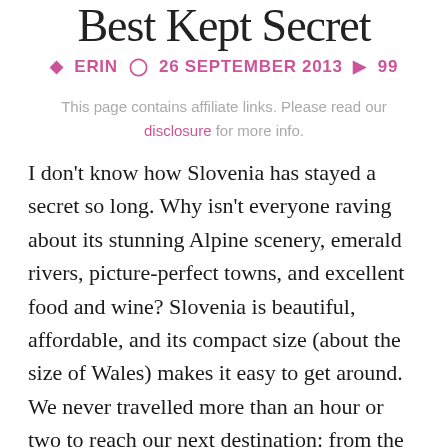Best Kept Secret
Erin  26 September 2013  99
This page contains affiliate links. Please read our disclosure for more info.
I don't know how Slovenia has stayed a secret so long. Why isn't everyone raving about its stunning Alpine scenery, emerald rivers, picture-perfect towns, and excellent food and wine? Slovenia is beautiful, affordable, and its compact size (about the size of Wales) makes it easy to get around. We never travelled more than an hour or two to reach our next destination: from the relaxed capital to vast